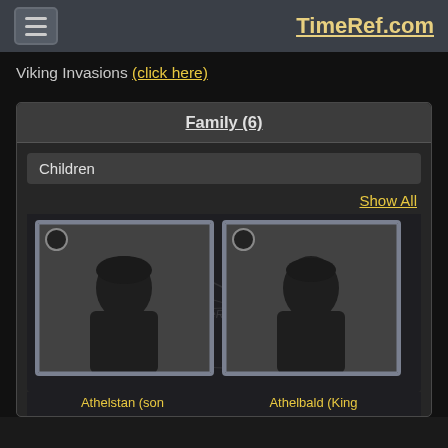TimeRef.com
Viking Invasions (click here)
Family (6)
Children
Show All
[Figure (illustration): Silhouette portrait of Athelstan (son) in a decorative frame]
Athelstan (son
[Figure (illustration): Silhouette portrait of Athelbald (King) in a decorative frame]
Athelbald (King